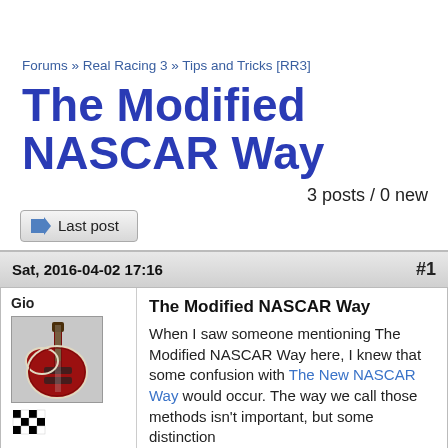Forums » Real Racing 3 » Tips and Tricks [RR3]
The Modified NASCAR Way
3 posts / 0 new
Last post
Sat, 2016-04-02 17:16   #1
Gio
[Figure (photo): Avatar image showing a red electric guitar (Gibson SG style) in a case]
The Modified NASCAR Way
When I saw someone mentioning The Modified NASCAR Way here, I knew that some confusion with The New NASCAR Way would occur. The way we call those methods isn't important, but some distinction